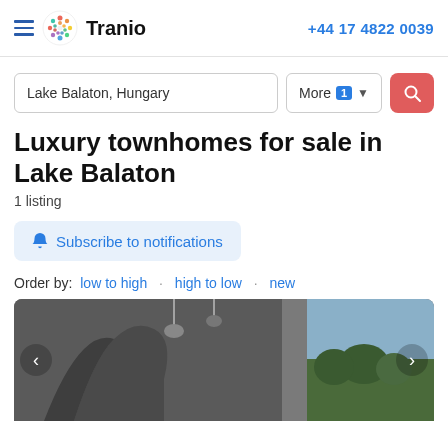Tranio | +44 17 4822 0039
Lake Balaton, Hungary
Luxury townhomes for sale in Lake Balaton
1 listing
Subscribe to notifications
Order by: low to high · high to low · new
[Figure (photo): Interior photo of a luxury property - modern concrete architectural interior with pendant lights and view to outdoors]